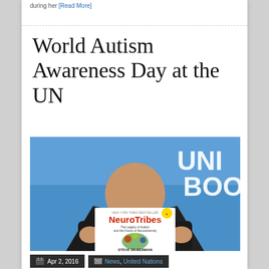during her [Read More]
World Autism Awareness Day at the UN
[Figure (photo): A man in a dark suit holds up a copy of the book 'NeuroTribes' in front of a blue United Nations backdrop]
Apr 2, 2016   News, United Nations